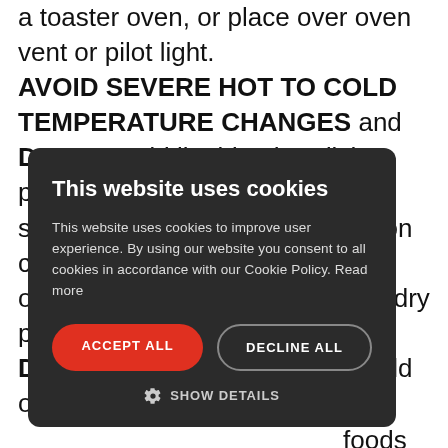a toaster oven, or place over oven vent or pilot light. AVOID SEVERE HOT TO COLD TEMPERATURE CHANGES and DO NOT add liquid to hot dish, place hot dish or glass cover in sink, immerse in water or place on cold or wet surfaces. Handle hot ovenware and glass covers with dry potholders. DO NOT use in microwave to hold or support foods with sugar, or owave. Use chipped, rcrowave, under broiler, or on top of stove unless otherwise
[Figure (screenshot): Cookie consent popup overlay with dark background. Title: 'This website uses cookies'. Body text explaining cookie usage policy. Two buttons: 'ACCEPT ALL' (red) and 'DECLINE ALL' (outlined). A 'SHOW DETAILS' link with gear icon.]